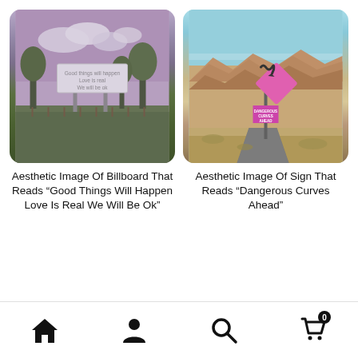[Figure (photo): Aesthetic photo of a billboard in a field with purple-tinted sky reading: Good things will happen / Love is real / We will be ok]
Aesthetic Image Of Billboard That Reads “Good Things Will Happen Love Is Real We Will Be Ok”
[Figure (photo): Aesthetic photo of a pink diamond-shaped road sign reading Dangerous Curves Ahead in a desert landscape]
Aesthetic Image Of Sign That Reads “Dangerous Curves Ahead”
Home | Profile | Search | Cart (0)